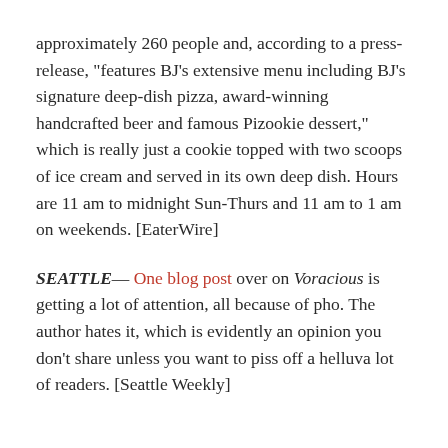approximately 260 people and, according to a press-release, "features BJ's extensive menu including BJ's signature deep-dish pizza, award-winning handcrafted beer and famous Pizookie dessert," which is really just a cookie topped with two scoops of ice cream and served in its own deep dish. Hours are 11 am to midnight Sun-Thurs and 11 am to 1 am on weekends. [EaterWire]
SEATTLE— One blog post over on Voracious is getting a lot of attention, all because of pho. The author hates it, which is evidently an opinion you don't share unless you want to piss off a helluva lot of readers. [Seattle Weekly]